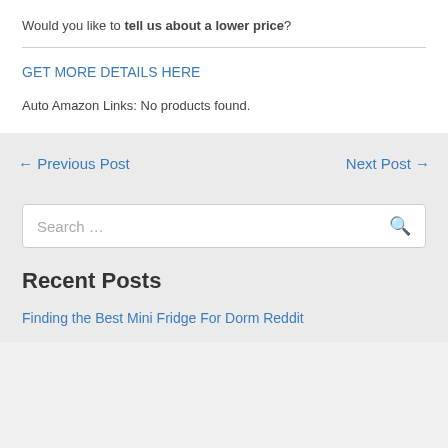Would you like to tell us about a lower price?
GET MORE DETAILS HERE
Auto Amazon Links: No products found.
← Previous Post
Next Post →
Search …
Recent Posts
Finding the Best Mini Fridge For Dorm Reddit